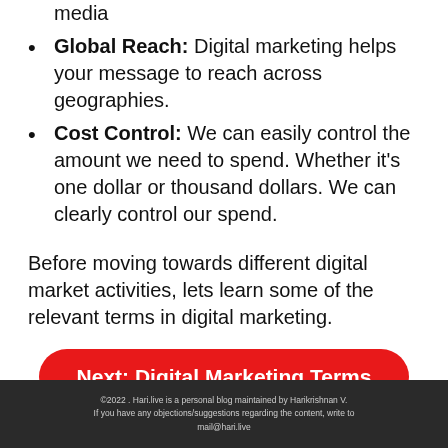media
Global Reach: Digital marketing helps your message to reach across geographies.
Cost Control: We can easily control the amount we need to spend. Whether it’s one dollar or thousand dollars. We can clearly control our spend.
Before moving towards different digital market activities, lets learn some of the relevant terms in digital marketing.
[Figure (other): Red rounded button with white bold text reading 'Next: Digital Marketing Terms']
©2022 . Hari.live is a personal blog maintained by Harikrishnan V.
If you have any objections/suggestions regarding the content, write to
mail@hari.live